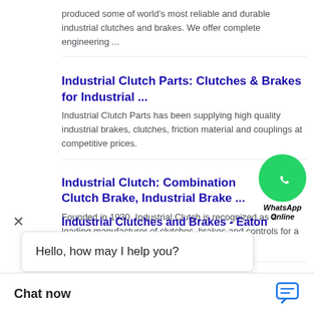produced some of world's most reliable and durable industrial clutches and brakes. We offer complete engineering ...
Industrial Clutch Parts: Clutches & Brakes for Industrial ...
Industrial Clutch Parts has been supplying high quality industrial brakes, clutches, friction material and couplings at competitive prices.
[Figure (screenshot): WhatsApp Online chat button overlay with green circle phone icon and text 'WhatsApp Online']
Industrial Clutch: Combination Clutch Brake, Industrial Brake ...
Founded in 1930, Industrial Clutch is recognized as a leading manufacturer of clutches, brakes and controls for a variety of heavy-duty applications.
Hello, how may I help you?
Industrial Clutches and Brakes - Eaton
... Producing ducts like the Eaton's Airflex
Chat now